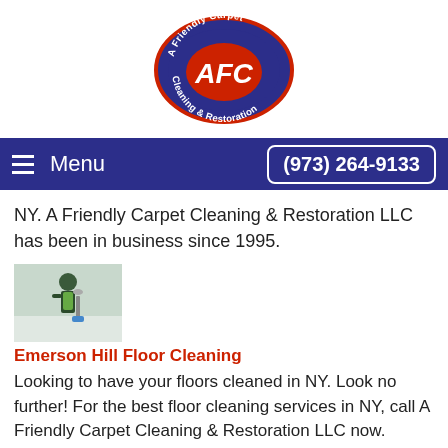[Figure (logo): A Friendly Carpet Cleaning & Restoration LLC oval logo with AFC initials in red on dark blue background]
Menu  (973) 264-9133
NY. A Friendly Carpet Cleaning & Restoration LLC has been in business since 1995.
[Figure (photo): Person cleaning floors with mop and bucket]
Emerson Hill Floor Cleaning
Looking to have your floors cleaned in NY. Look no further! For the best floor cleaning services in NY, call A Friendly Carpet Cleaning & Restoration LLC now.
[Figure (photo): Carpet cleaning equipment/hose on carpet]